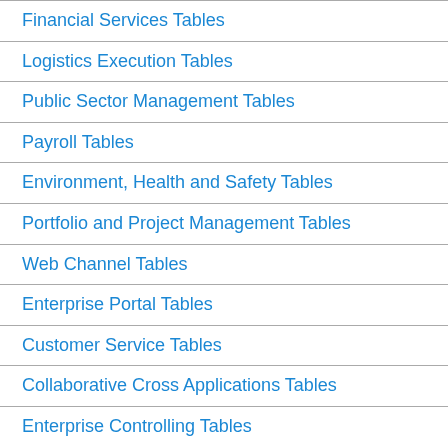Financial Services Tables
Logistics Execution Tables
Public Sector Management Tables
Payroll Tables
Environment, Health and Safety Tables
Portfolio and Project Management Tables
Web Channel Tables
Enterprise Portal Tables
Customer Service Tables
Collaborative Cross Applications Tables
Enterprise Controlling Tables